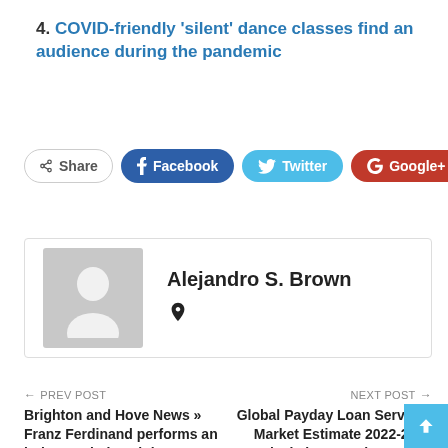4. COVID-friendly 'silent' dance classes find an audience during the pandemic
[Figure (other): Social share buttons row: Share, Facebook, Twitter, Google+, plus button]
[Figure (other): Author card with avatar placeholder and name Alejandro S. Brown with a globe/location icon]
← PREV POST
Brighton and Hove News » Franz Ferdinand performs an intimate gig in Brighton
NEXT POST →
Global Payday Loan Services Market Estimate 2022-2028 Analysis by Key Players like Wonga,